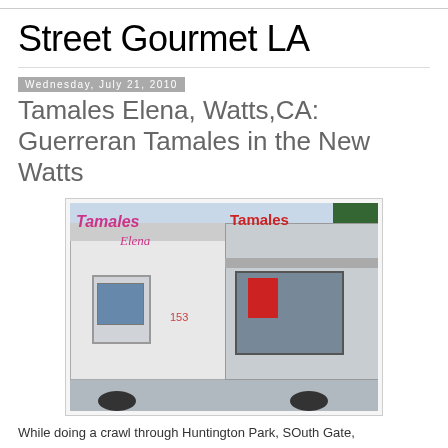Street Gourmet LA
Wednesday, July 21, 2010
Tamales Elena, Watts,CA: Guerreran Tamales in the New Watts
[Figure (photo): A white food truck with 'Tamales Elena' written on the side in pink/red cursive lettering, number 153 visible, with a service window on the right side and trees in background.]
While doing a crawl through Huntington Park, SOuth Gate,